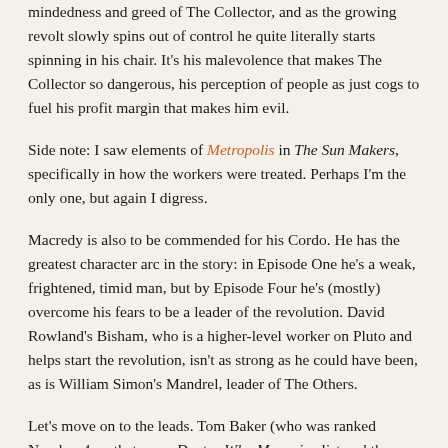mindedness and greed of The Collector, and as the growing revolt slowly spins out of control he quite literally starts spinning in his chair. It's his malevolence that makes The Collector so dangerous, his perception of people as just cogs to fuel his profit margin that makes him evil.
Side note: I saw elements of Metropolis in The Sun Makers, specifically in how the workers were treated. Perhaps I'm the only one, but again I digress.
Macredy is also to be commended for his Cordo. He has the greatest character arc in the story: in Episode One he's a weak, frightened, timid man, but by Episode Four he's (mostly) overcome his fears to be a leader of the revolution. David Rowland's Bisham, who is a higher-level worker on Pluto and helps start the revolution, isn't as strong as he could have been, as is William Simon's Mandrel, leader of The Others.
Let's move on to the leads. Tom Baker (who was ranked Number 4 on that same Doctor Who Magazine list and the highest-ranking Doctor of the three to make the Top Ten**) has a face children can trust. He brings a combination of eccentricity and joy at adventure that make him a well-suited actor for the role. Baker has become...